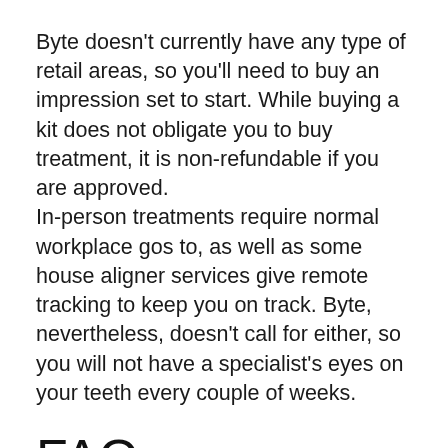Byte doesn't currently have any type of retail areas, so you'll need to buy an impression set to start. While buying a kit does not obligate you to buy treatment, it is non-refundable if you are approved. In-person treatments require normal workplace gos to, as well as some house aligner services give remote tracking to keep you on track. Byte, nevertheless, doesn't call for either, so you will not have a specialist's eyes on your teeth every couple of weeks.
FAQ.
Exactly how should Byte aligners fit?
Aligners ought to fit securely, specifically the